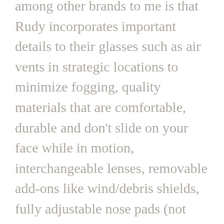among other brands to me is that Rudy incorporates important details to their glasses such as air vents in strategic locations to minimize fogging, quality materials that are comfortable, durable and don't slide on your face while in motion, interchangeable lenses, removable add-ons like wind/debris shields, fully adjustable nose pads (not common in sport eyewear), and high end lens materials and tints to enhance vision and more. I currently use the Rydon with prescriptions transition lenses with a mirror finish.
If you are looking for performance eyewear, I definitely recommend you give Rudy a try. Stop in anytime we are open and anyone of us can give you a